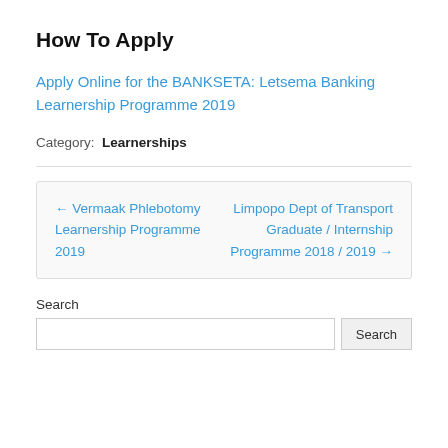How To Apply
Apply Online for the BANKSETA: Letsema Banking Learnership Programme 2019
Category: Learnerships
← Vermaak Phlebotomy Learnership Programme 2019
Limpopo Dept of Transport Graduate / Internship Programme 2018 / 2019 →
Search